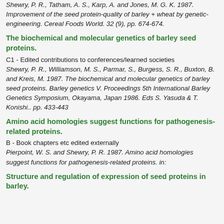Shewry, P. R., Tatham, A. S., Karp, A. and Jones, M. G. K. 1987. Improvement of the seed protein-quality of barley + wheat by genetic-engineering. Cereal Foods World. 32 (9), pp. 674-674.
The biochemical and molecular genetics of barley seed proteins.
C1 - Edited contributions to conferences/learned societies
Shewry, P. R., Williamson, M. S., Parmar, S., Burgess, S. R., Buxton, B. and Kreis, M. 1987. The biochemical and molecular genetics of barley seed proteins. Barley genetics V. Proceedings 5th International Barley Genetics Symposium, Okayama, Japan 1986. Eds S. Yasuda & T. Konishi.. pp. 433-443
Amino acid homologies suggest functions for pathogenesis-related proteins.
B - Book chapters etc edited externally
Pierpoint, W. S. and Shewry, P. R. 1987. Amino acid homologies suggest functions for pathogenesis-related proteins. in:
Structure and regulation of expression of seed proteins in barley.